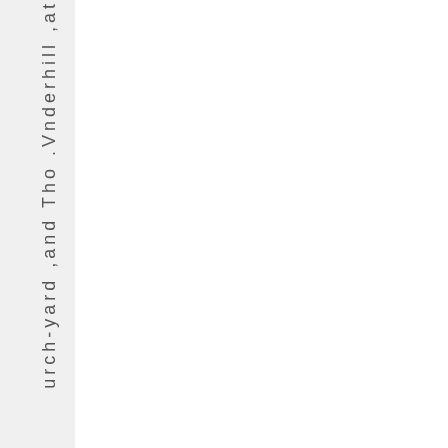urch-yard ,and Tho .Vnderhill ,at